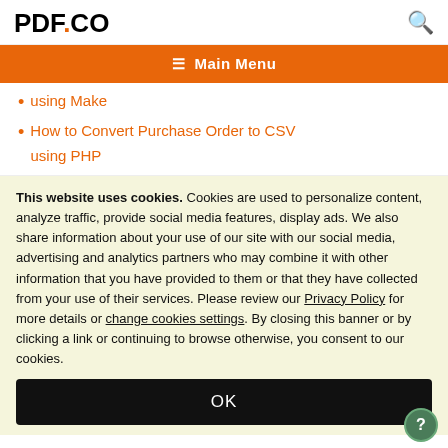PDF.CO
[Figure (screenshot): Navigation bar with hamburger icon and Main Menu text on orange background]
using Make
How to Convert Purchase Order to CSV using PHP
This website uses cookies. Cookies are used to personalize content, analyze traffic, provide social media features, display ads. We also share information about your use of our site with our social media, advertising and analytics partners who may combine it with other information that you have provided to them or that they have collected from your use of their services. Please review our Privacy Policy for more details or change cookies settings. By closing this banner or by clicking a link or continuing to browse otherwise, you consent to our cookies.
OK